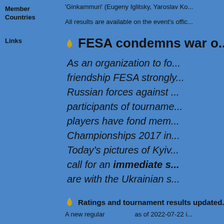Member Countries
Links
'Ginkammuri' (Eugeny Iglitsky, Yaroslav Ko...
All results are available on the event's offic...
FESA condemns war o...
As an organization to fo... friendship FESA strongly... Russian forces against... participants of tourname... players have fond mem... Championships 2017 in... Today's pictures of Kyiv... call for an immediate s... are with the Ukrainian s...
Ratings and tournament results updated...
A new regular    as of 2022-07-22 i...